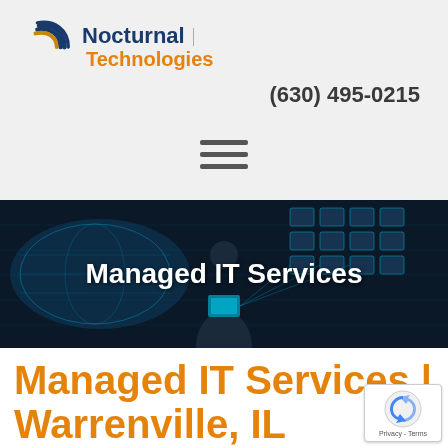[Figure (logo): Nocturnal Technologies logo with stylized C arc graphic in blue/gold, company name in navy blue and orange]
(630) 495-0215
[Figure (other): Hamburger menu icon (three horizontal lines)]
[Figure (photo): Dark hero image of a person in a suit holding a glowing tablet, with blue world map and digital network icons in the background, overlaid with the text 'Managed IT Services']
Managed IT Services | Warrenville, IL